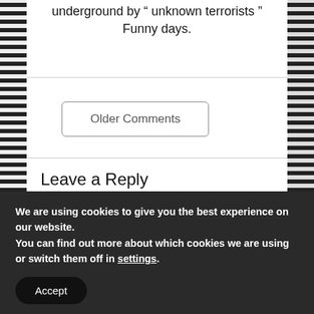underground by "unknown terrorists" Funny days.
Older Comments
Leave a Reply
Your email address will not be published.
Required fields are marked *
We are using cookies to give you the best experience on our website.
You can find out more about which cookies we are using or switch them off in settings.
Accept